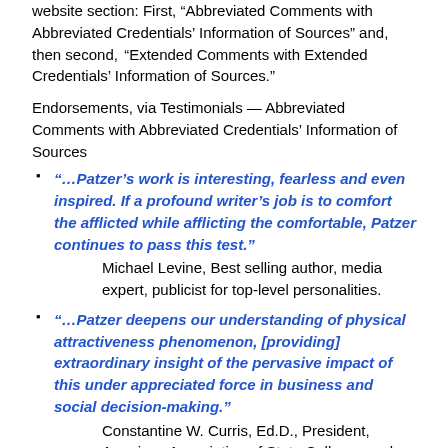website section: First, “Abbreviated Comments with Abbreviated Credentials’ Information of Sources” and, then second, “Extended Comments with Extended Credentials’ Information of Sources.”
Endorsements, via Testimonials — Abbreviated Comments with Abbreviated Credentials’ Information of Sources
“…Patzer’s work is interesting, fearless and even inspired. If a profound writer’s job is to comfort the afflicted while afflicting the comfortable, Patzer continues to pass this test.” — Michael Levine, Best selling author, media expert, publicist for top-level personalities.
“…Patzer deepens our understanding of physical attractiveness phenomenon, [providing] extraordinary insight of the pervasive impact of this under appreciated force in business and social decision-making.” — Constantine W. Curris, Ed.D., President, American Association of State Colleges and Universities.
“Becoming and remaining attractive to oneself and to others has become a preoccupation of millions of people from all walks of life…billions are spent on it…Dr. Gordon L. Patzer has spent a significant amount of time during his career to